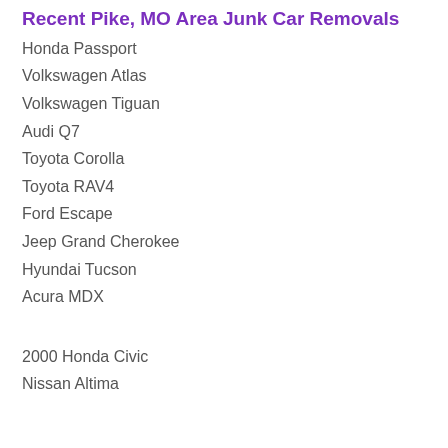Recent Pike, MO Area Junk Car Removals
Honda Passport
Volkswagen Atlas
Volkswagen Tiguan
Audi Q7
Toyota Corolla
Toyota RAV4
Ford Escape
Jeep Grand Cherokee
Hyundai Tucson
Acura MDX
2000 Honda Civic
Nissan Altima